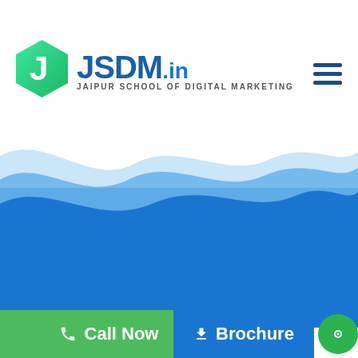[Figure (logo): JSDM.in - Jaipur School of Digital Marketing logo with green hexagon J icon and blue JSDM.in text]
[Figure (illustration): Hamburger menu icon with three horizontal dark blue lines]
[Figure (illustration): Layered blue wave illustration against blue background forming a banner/hero section]
[Figure (infographic): Call Now green button with phone icon on bottom left, Brochure blue button with download icon, and green circular chat bubble on bottom right]